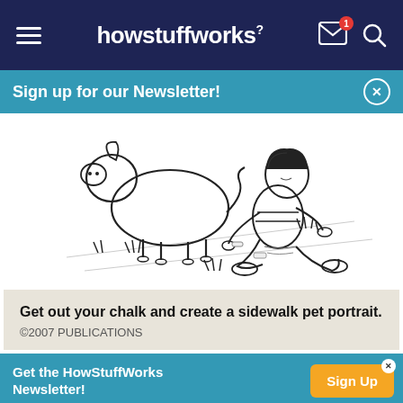howstuffworks
Sign up for our Newsletter!
[Figure (illustration): Black and white illustration of a child kneeling on the ground drawing a pet portrait (pig/dog shape) on the sidewalk with chalk.]
Get out your chalk and create a sidewalk pet portrait.
©2007 PUBLICATIONS
Get the HowStuffWorks Newsletter!  Sign Up